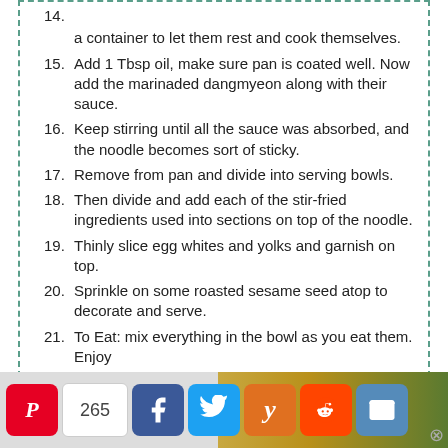a container to let them rest and cook themselves.
15. Add 1 Tbsp oil, make sure pan is coated well. Now add the marinaded dangmyeon along with their sauce.
16. Keep stirring until all the sauce was absorbed, and the noodle becomes sort of sticky.
17. Remove from pan and divide into serving bowls.
18. Then divide and add each of the stir-fried ingredients used into sections on top of the noodle.
19. Thinly slice egg whites and yolks and garnish on top.
20. Sprinkle on some roasted sesame seed atop to decorate and serve.
21. To Eat: mix everything in the bowl as you eat them. Enjoy
[Figure (screenshot): Social sharing bar with Pinterest (265), Facebook, Twitter, Yummly, Reddit, and Email buttons, with food photo background on right]